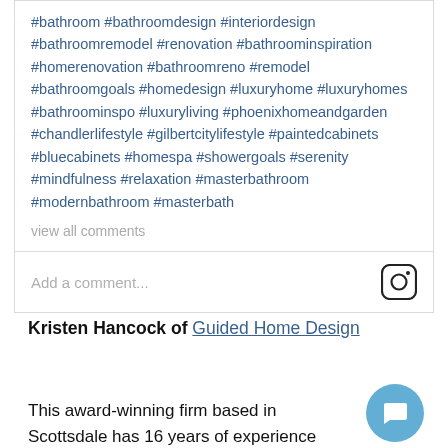#bathroom #bathroomdesign #interiordesign #bathroomremodel #renovation #bathroominspiration #homerenovation #bathroomreno #remodel #bathroomgoals #homedesign #luxuryhome #luxuryhomes #bathroominspo #luxuryliving #phoenixhomeandgarden #chandlerlifestyle #gilbertcitylifestyle #paintedcabinets #bluecabinets #homespa #showergoals #serenity #mindfulness #relaxation #masterbathroom #modernbathroom #masterbath
view all comments
Add a comment...
Kristen Hancock of Guided Home Design
This award-winning firm based in Scottsdale has 16 years of experience